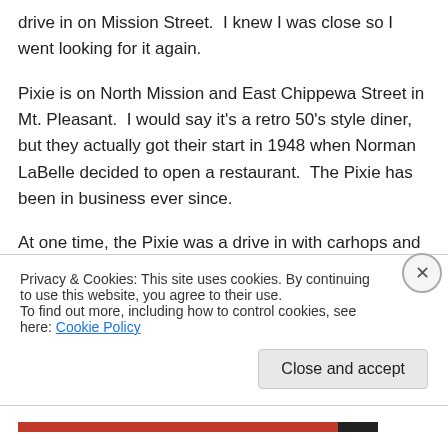drive in on Mission Street.  I knew I was close so I went looking for it again.
Pixie is on North Mission and East Chippewa Street in Mt. Pleasant.  I would say it's a retro 50's style diner, but they actually got their start in 1948 when Norman LaBelle decided to open a restaurant.  The Pixie has been in business ever since.
At one time, the Pixie was a drive in with carhops and a complete menu.  Today, they're a cross between fast food
Privacy & Cookies: This site uses cookies. By continuing to use this website, you agree to their use.
To find out more, including how to control cookies, see here: Cookie Policy
Close and accept